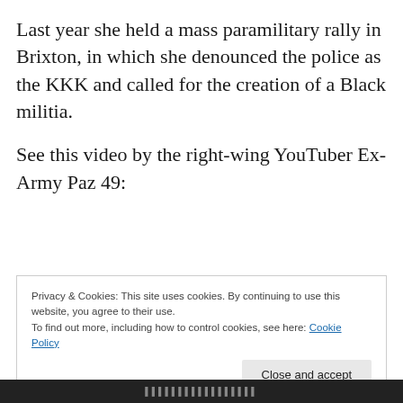Last year she held a mass paramilitary rally in Brixton, in which she denounced the police as the KKK and called for the creation of a Black militia.
See this video by the right-wing YouTuber Ex-Army Paz 49:
Privacy & Cookies: This site uses cookies. By continuing to use this website, you agree to their use.
To find out more, including how to control cookies, see here: Cookie Policy
Close and accept